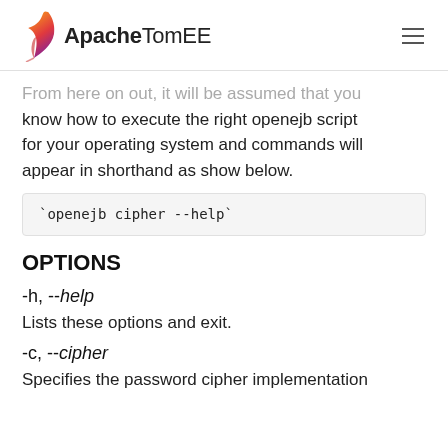Apache TomEE
From here on out, it will be assumed that you know how to execute the right openejb script for your operating system and commands will appear in shorthand as show below.
OPTIONS
-h, --help
Lists these options and exit.
-c, --cipher
Specifies the password cipher implementation